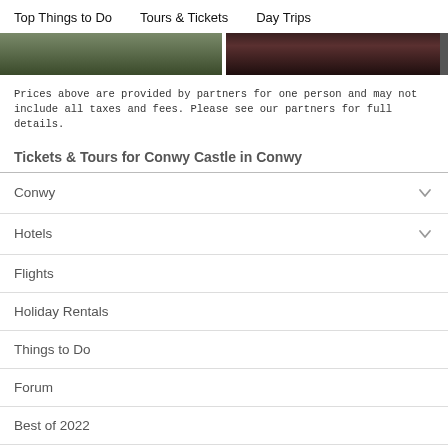Top Things to Do   Tours & Tickets   Day Trips
[Figure (photo): Two partially visible photographs side by side at the top of the page, cropped at the top edge]
Prices above are provided by partners for one person and may not include all taxes and fees. Please see our partners for full details.
Tickets & Tours for Conwy Castle in Conwy
Conwy
Hotels
Flights
Holiday Rentals
Things to Do
Forum
Best of 2022
More